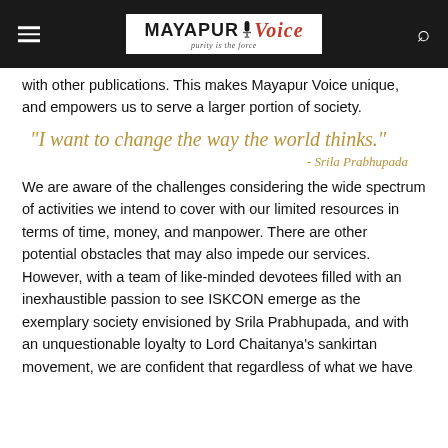MAYAPUR Voice — purity is the force
with other publications. This makes Mayapur Voice unique, and empowers us to serve a larger portion of society.
"I want to change the way the world thinks." - Srila Prabhupada
We are aware of the challenges considering the wide spectrum of activities we intend to cover with our limited resources in terms of time, money, and manpower. There are other potential obstacles that may also impede our services. However, with a team of like-minded devotees filled with an inexhaustible passion to see ISKCON emerge as the exemplary society envisioned by Srila Prabhupada, and with an unquestionable loyalty to Lord Chaitanya's sankirtan movement, we are confident that regardless of what we have